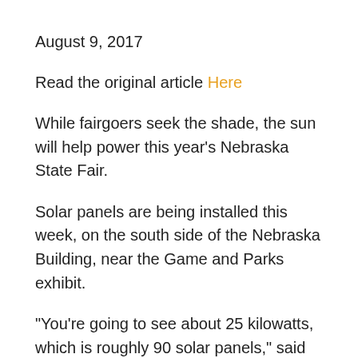August 9, 2017
Read the original article Here
While fairgoers seek the shade, the sun will help power this year's Nebraska State Fair.
Solar panels are being installed this week, on the south side of the Nebraska Building, near the Game and Parks exhibit.
“You’re going to see about 25 kilowatts, which is roughly 90 solar panels,” said Jason Olberding of J-Tech Solar.
Olberding says his company agreed to put the panels in at no cost to the fair. It’s a welcome addition to a fair that strives to be the most innovative in the country.
The Fair’s facilities director Jaime Parr said, “I do see the